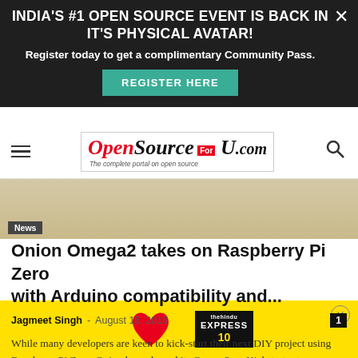[Figure (screenshot): Website screenshot showing OpenSourceForU.com with a promotional banner overlay for India's #1 Open Source Event, the site navigation bar with the OpenSource ForU logo, an article image with a News badge, the article title and metadata, and a yellow advertisement banner at the bottom.]
INDIA'S #1 OPEN SOURCE EVENT IS BACK IN IT'S PHYSICAL AVATAR!
Register today to get a complimentary Community Pass.
REGISTER HERE
News
Onion Omega2 takes on Raspberry Pi Zero with Arduino compatibility and...
Jagmeet Singh  -  August 16, 2016
While many developers are keen to kick-start their next DIY project using Raspberry Pi Zero, Onion has released its Omega2 on Kickstarter to compete...